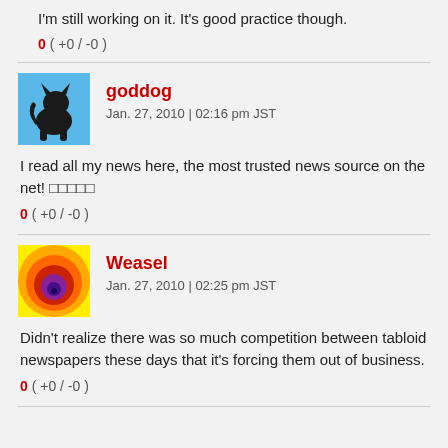I'm still working on it. It's good practice though.
0 ( +0 / -0 )
goddog
Jan. 27, 2010 | 02:16 pm JST
I read all my news here, the most trusted news source on the net! □□□□□
0 ( +0 / -0 )
Weasel
Jan. 27, 2010 | 02:25 pm JST
Didn't realize there was so much competition between tabloid newspapers these days that it's forcing them out of business.
0 ( +0 / -0 )